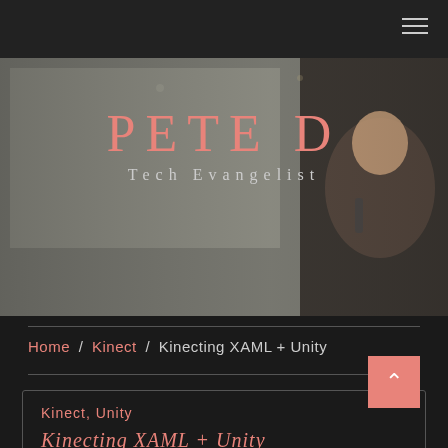PETE D - Tech Evangelist
[Figure (photo): Blurry photo of a man holding a microphone on a stage with a screen behind him, overlaid with the site name PETE D and subtitle Tech Evangelist]
PETE D
Tech Evangelist
Home / Kinect / Kinecting XAML + Unity
Kinect, Unity
Kinecting XAML + Unity